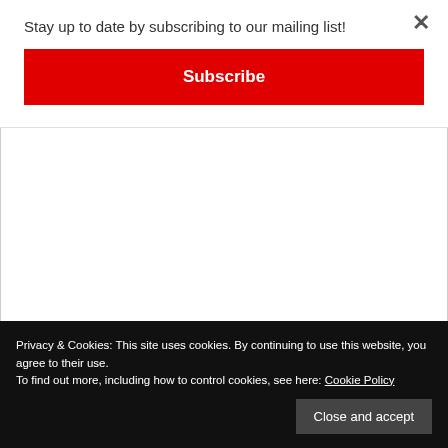Stay up to date by subscribing to our mailing list!
Subscribe
[Figure (screenshot): Blank white content area with two broken image placeholders: 'Box Back' on the left and 'Garmin 945 In Box' on the right with a checkbox icon]
Privacy & Cookies: This site uses cookies. By continuing to use this website, you agree to their use.
To find out more, including how to control cookies, see here: Cookie Policy
Close and accept